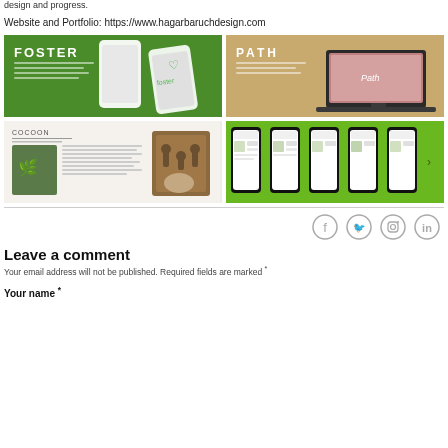design and progress.
Website and Portfolio: https://www.hagarbaruchdesign.com
[Figure (screenshot): Foster app mockup on green background]
[Figure (screenshot): Path app mockup on tan/beige background with laptop]
[Figure (screenshot): Cocoon project design page with plant imagery]
[Figure (screenshot): Social app mockup with multiple phone screens on green background]
Leave a comment
Your email address will not be published. Required fields are marked *
Your name *